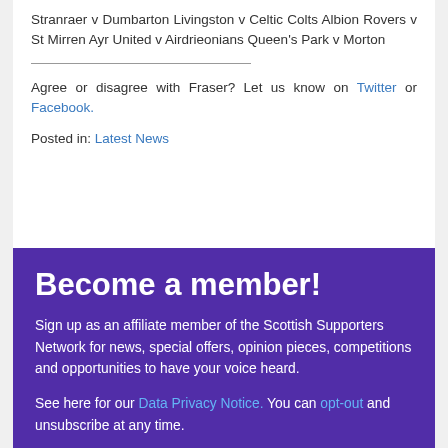Stranraer v Dumbarton Livingston v Celtic Colts Albion Rovers v St Mirren Ayr United v Airdrieonians Queen's Park v Morton
Agree or disagree with Fraser? Let us know on Twitter or Facebook.
Posted in: Latest News
Become a member!
Sign up as an affiliate member of the Scottish Supporters Network for news, special offers, opinion pieces, competitions and opportunities to have your voice heard.
See here for our Data Privacy Notice. You can opt-out and unsubscribe at any time.